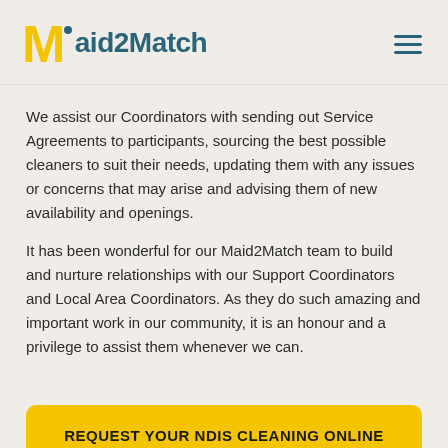Maid2Match
We assist our Coordinators with sending out Service Agreements to participants, sourcing the best possible cleaners to suit their needs, updating them with any issues or concerns that may arise and advising them of new availability and openings.
It has been wonderful for our Maid2Match team to build and nurture relationships with our Support Coordinators and Local Area Coordinators. As they do such amazing and important work in our community, it is an honour and a privilege to assist them whenever we can.
REQUEST YOUR NDIS CLEANING ONLINE